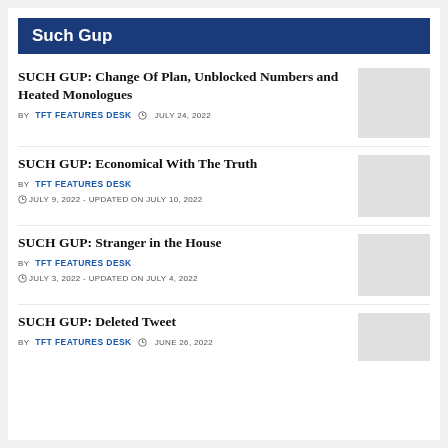Such Gup
SUCH GUP: Change Of Plan, Unblocked Numbers and Heated Monologues
BY TFT FEATURES DESK  JULY 24, 2022
SUCH GUP: Economical With The Truth
BY TFT FEATURES DESK
JULY 9, 2022 - UPDATED ON JULY 10, 2022
SUCH GUP: Stranger in the House
BY TFT FEATURES DESK
JULY 3, 2022 - UPDATED ON JULY 4, 2022
SUCH GUP: Deleted Tweet
BY TFT FEATURES DESK  JUNE 26, 2022